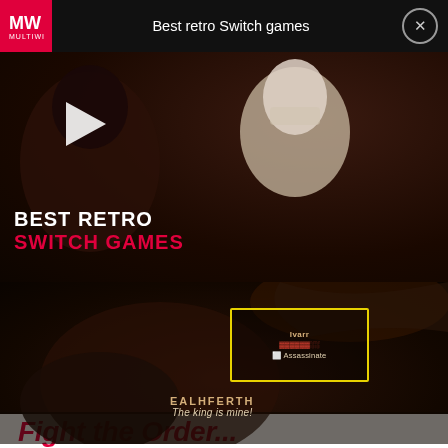[Figure (screenshot): Ad banner for 'Best retro Switch games' from MW website with red logo, white text, and close button]
[Figure (screenshot): Video thumbnail showing 'Best Retro Switch Games' title with play button over game artwork of two characters]
[Figure (screenshot): Game screenshot from Assassin's Creed Valhalla showing Ealhferth character with yellow highlight box and 'Assassinate' prompt. Character says 'The king is mine!']
A member of the Order hides in the crowd as one of the guards and waits for the right opportunity to attack King Aelfred. As soon as Ealhferth yells and reveals his identity, attack from above and immediately finish him off with the Hidden Blade. If you do not manage to kill your opponent with a single blow, you will have to fight him.
Fight the Order member